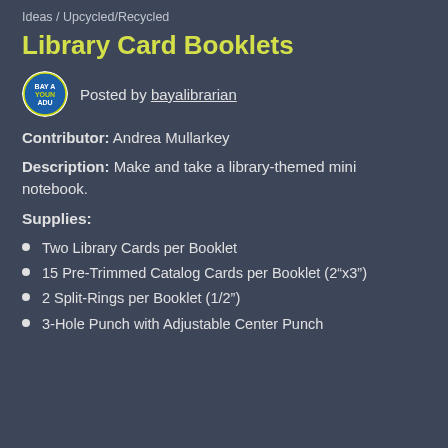Ideas / Upcycled/Recycled
Library Card Booklets
Posted by bayalibrarian
Contributor: Andrea Mullarkey
Description: Make and take a library-themed mini notebook.
Supplies:
Two Library Cards per Booklet
15 Pre-Trimmed Catalog Cards per Booklet (2"x3")
2 Split-Rings per Booklet (1/2")
3-Hole Punch with Adjustable Center Punch